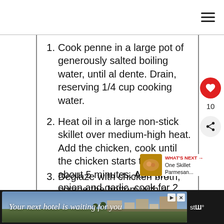Cook penne in a large pot of generously salted boiling water, until al dente. Drain, reserving 1/4 cup cooking water.
Heat oil in a large non-stick skillet over medium-high heat. Add the chicken, cook until the chicken starts to brown, about 5 minutes. Add the onion and garlic, cook for 2 minutes until it softens. Stir in the seasoning and cook for another 30 seconds until aromatic.
Deglaze with chicken broth, scrape the bottom with a wooden spoon to release the browned bits.
[Figure (infographic): What's Next widget showing One Skillet Parmesan... with a food thumbnail image]
[Figure (infographic): Advertisement banner: Your next hotel is waiting for you]